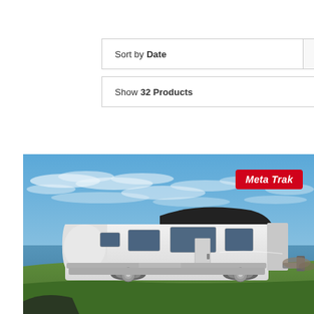Sort by Date
Show 32 Products
[Figure (photo): A white modern caravan/trailer parked on a grassy coastal hillside with blue sky and wispy clouds in the background, with a Meta Trak red badge in the top right corner of the image.]